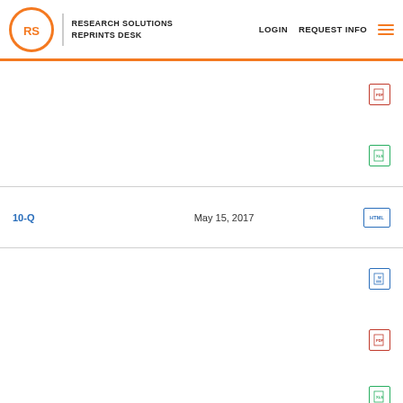[Figure (logo): Research Solutions Reprints Desk logo with orange circle containing RS initials, and navigation links LOGIN, REQUEST INFO, and hamburger menu]
| Filing Type | Date | Format |
| --- | --- | --- |
|  |  | PDF icon |
|  |  | XLS icon |
| 10-Q | May 15, 2017 | HTML icon |
|  |  | Word icon |
|  |  | PDF icon |
|  |  | XLS icon |